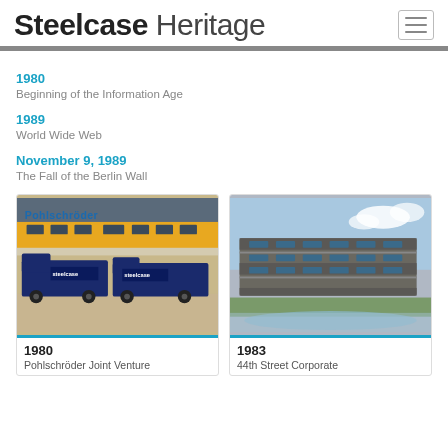Steelcase Heritage
1980
Beginning of the Information Age
1989
World Wide Web
November 9, 1989
The Fall of the Berlin Wall
[Figure (photo): Photo of Pohlschröder building exterior with dark blue delivery trucks parked in front, showing colorful Steelcase logos on the trucks]
1980
Pohlschröder Joint Venture
[Figure (photo): Photo of 44th Street Corporate campus building, a modern multi-story dark brick and glass structure reflected in a pond]
1983
44th Street Corporate